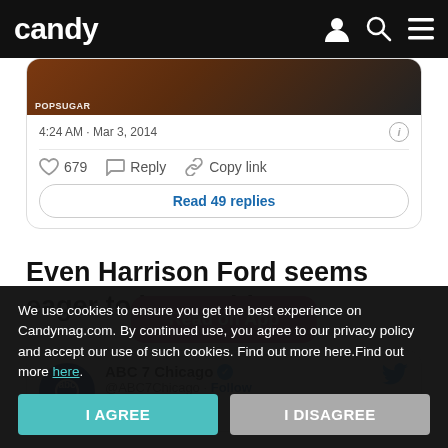candy
[Figure (screenshot): Tweet card showing image with POPSUGAR watermark, timestamp 4:24 AM · Mar 3, 2014, 679 likes, Reply, Copy link actions, and Read 49 replies button]
Even Harrison Ford seems eager to have a bite.
[Figure (screenshot): ABC 7 Chicago Twitter card with @ABC7ChicagoFollow]
We use cookies to ensure you get the best experience on Candymag.com. By continued use, you agree to our privacy policy and accept our use of such cookies. Find out more here.Find out more here.